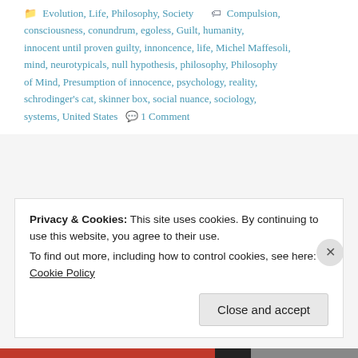Evolution, Life, Philosophy, Society  Compulsion, consciousness, conundrum, egoless, Guilt, humanity, innocent until proven guilty, innoncence, life, Michel Maffesoli, mind, neurotypicals, null hypothesis, philosophy, Philosophy of Mind, Presumption of innocence, psychology, reality, schrodinger's cat, skinner box, social nuance, sociology, systems, United States  💬 1 Comment
Privacy & Cookies: This site uses cookies. By continuing to use this website, you agree to their use.
To find out more, including how to control cookies, see here: Cookie Policy
Close and accept